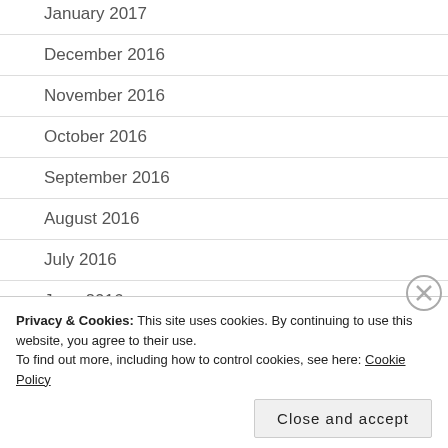January 2017
December 2016
November 2016
October 2016
September 2016
August 2016
July 2016
June 2016
May 2016
April 2016
Privacy & Cookies: This site uses cookies. By continuing to use this website, you agree to their use.
To find out more, including how to control cookies, see here: Cookie Policy
Close and accept